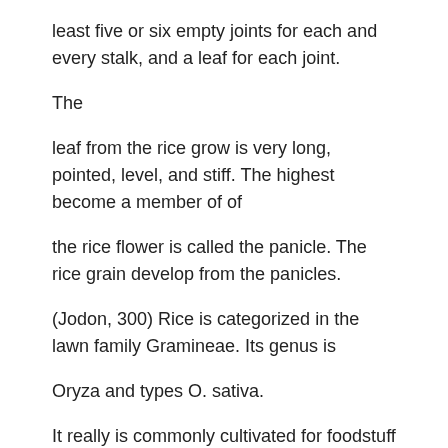least five or six empty joints for each and every stalk, and a leaf for each joint.
The
leaf from the rice grow is very long, pointed, level, and stiff. The highest become a member of of
the rice flower is called the panicle. The rice grain develop from the panicles.
(Jodon, 300) Rice is categorized in the lawn family Gramineae. Its genus is
Oryza and types O. sativa.
It really is commonly cultivated for foodstuff in Asia.